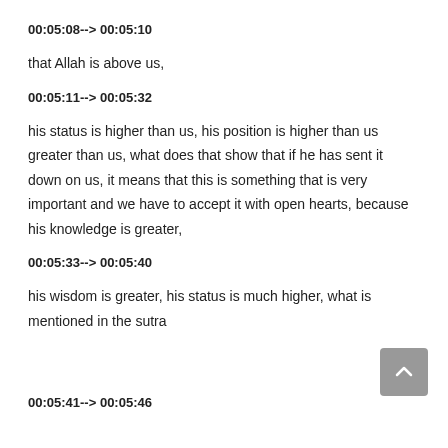00:05:08--> 00:05:10
that Allah is above us,
00:05:11--> 00:05:32
his status is higher than us, his position is higher than us greater than us, what does that show that if he has sent it down on us, it means that this is something that is very important and we have to accept it with open hearts, because his knowledge is greater,
00:05:33--> 00:05:40
his wisdom is greater, his status is much higher, what is mentioned in the sutra
00:05:41--> 00:05:46
is on the example of what we believe about our practice and this is about